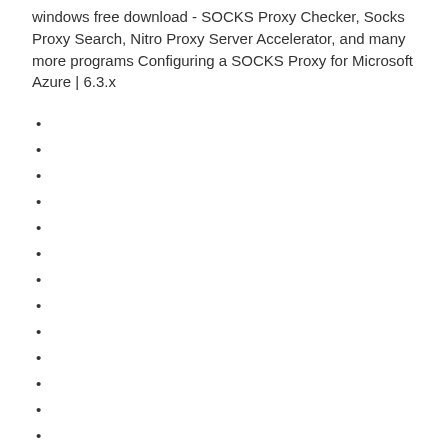windows free download - SOCKS Proxy Checker, Socks Proxy Search, Nitro Proxy Server Accelerator, and many more programs Configuring a SOCKS Proxy for Microsoft Azure | 6.3.x